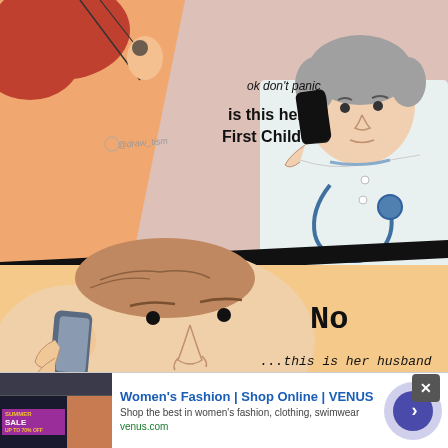[Figure (illustration): Comic strip meme in two panels. Top panel shows a doctor on a phone with stethoscope saying 'ok don't panic / is this her First Child?' with watermark '@draw_tism'. Bottom panel shows a man on a phone saying 'No / ...this is her husband'. Art style is clean comic/cartoon line drawing.]
Women's Fashion | Shop Online | VENUS
Shop the best in women's fashion, clothing, swimwear
venus.com